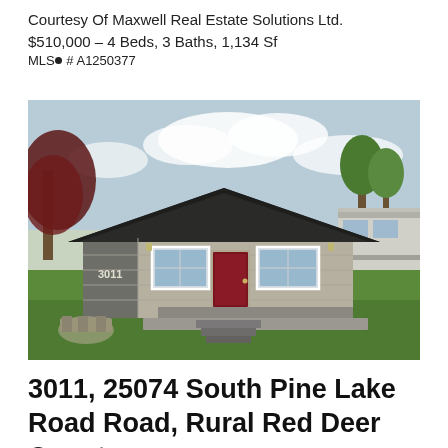Courtesy Of Maxwell Real Estate Solutions Ltd.
$510,000 – 4 Beds, 3 Baths, 1,134 Sf
MLS® # A1250377
[Figure (photo): Exterior photo of a single-storey bungalow with dark grey roof, taupe/grey siding, burgundy front door, front deck with steps, concrete driveway, green lawn, red-leafed tree on left, trailer visible on right, cloudy sky background. Address number 3011 visible on left side of house.]
3011, 25074 South Pine Lake Road Road, Rural Red Deer County